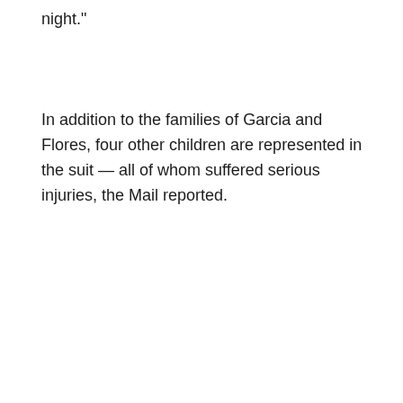night."
In addition to the families of Garcia and Flores, four other children are represented in the suit — all of whom suffered serious injuries, the Mail reported.